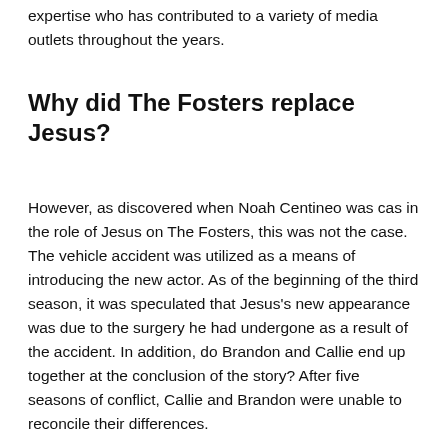expertise who has contributed to a variety of media outlets throughout the years.
Why did The Fosters replace Jesus?
However, as discovered when Noah Centineo was cast in the role of Jesus on The Fosters, this was not the case. The vehicle accident was utilized as a means of introducing the new actor. As of the beginning of the third season, it was speculated that Jesus's new appearance was due to the surgery he had undergone as a result of the accident. In addition, do Brandon and Callie end up together at the conclusion of the story? After five seasons of conflict, Callie and Brandon were unable to reconcile their differences.